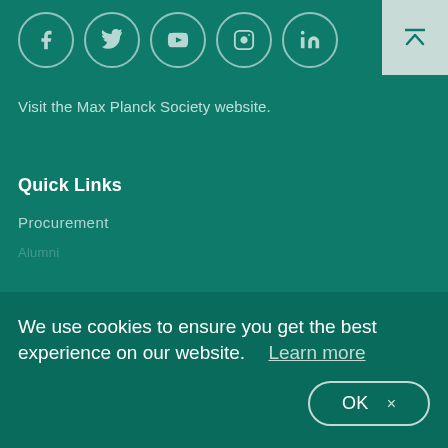[Figure (other): Row of social media icons in circles: Facebook, Twitter, YouTube, Instagram, LinkedIn]
[Figure (other): Back-to-top button with upward arrow and overline, light green background]
Visit the Max Planck Society website.
Quick Links
Procurement
We use cookies to ensure you get the best experience on our website.  Learn more
OK  ×